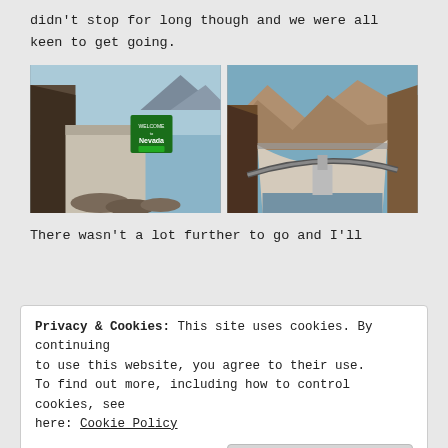didn't stop for long though and we were all keen to get going.
[Figure (photo): Two side-by-side photos: left photo shows a Welcome to Nevada sign along a road with rocky cliffs; right photo shows an aerial view of Hoover Dam with canyon walls.]
There wasn't a lot further to go and I'll
Privacy & Cookies: This site uses cookies. By continuing to use this website, you agree to their use. To find out more, including how to control cookies, see here: Cookie Policy
Close and accept